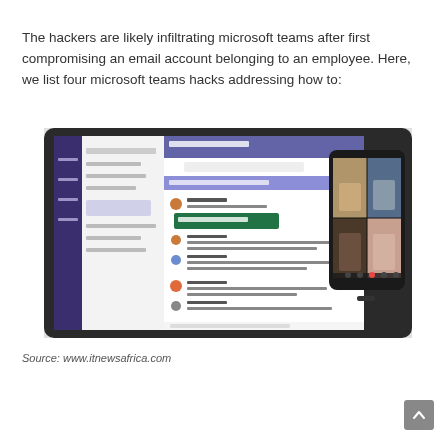The hackers are likely infiltrating microsoft teams after first compromising an email account belonging to an employee. Here, we list four microsoft teams hacks addressing how to:
[Figure (screenshot): Screenshot of Microsoft Teams desktop application on a tablet showing a team chat interface with channel messages, alongside a smartphone showing a video call with four participants.]
Source: www.itnewsafrica.com